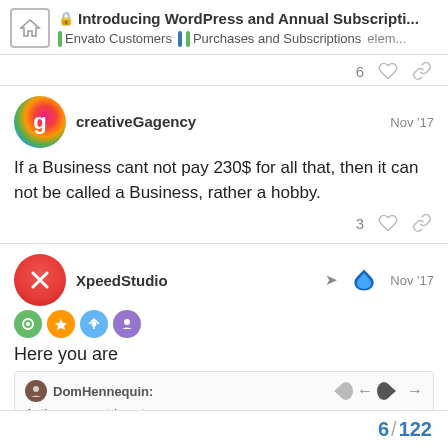Introducing WordPress and Annual Subscripti... | Envato Customers | Purchases and Subscriptions elem...
6 ♡ 🔗
creativeGagency  Nov '17
If a Business cant not pay 230$ for all that, then it can not be called a Business, rather a hobby.
3 ♡ 🔗
XpeedStudio  Nov '17
Here you are
DomHennequin:
Author support is not o:
6 / 122